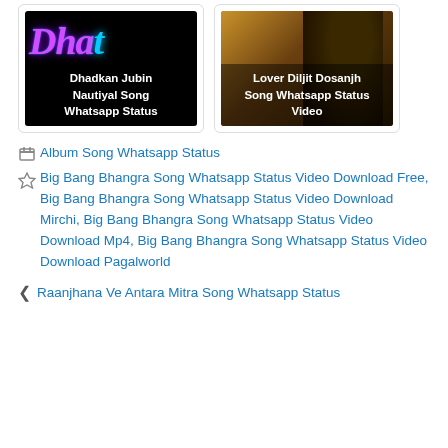[Figure (photo): Dhadkan Jubin Nautiyal Song Whatsapp Status - thumbnail with colorful Dha text on black background]
[Figure (photo): Lover Diljit Dosanjh Song Whatsapp Status Video - thumbnail with person's silhouette/back of head]
Album Song Whatsapp Status
Big Bang Bhangra Song Whatsapp Status Video Download Free, Big Bang Bhangra Song Whatsapp Status Video Download Mirchi, Big Bang Bhangra Song Whatsapp Status Video Download Mp4, Big Bang Bhangra Song Whatsapp Status Video Download Pagalworld
Raanjhana Ve Antara Mitra Song Whatsapp Status